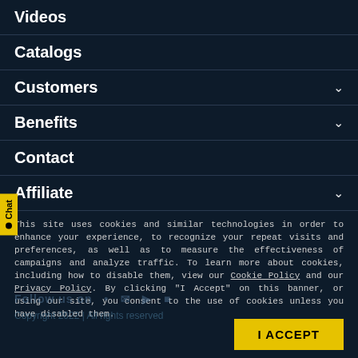Videos
Catalogs
Customers
Benefits
Contact
Affiliate
This site uses cookies and similar technologies in order to enhance your experience, to recognize your repeat visits and preferences, as well as to measure the effectiveness of campaigns and analyze traffic. To learn more about cookies, including how to disable them, view our Cookie Policy and our Privacy Policy. By clicking "I Accept" on this banner, or using our site, you consent to the use of cookies unless you have disabled them.
Follow us on ... Copyright 2022 | All rights reserved
I ACCEPT